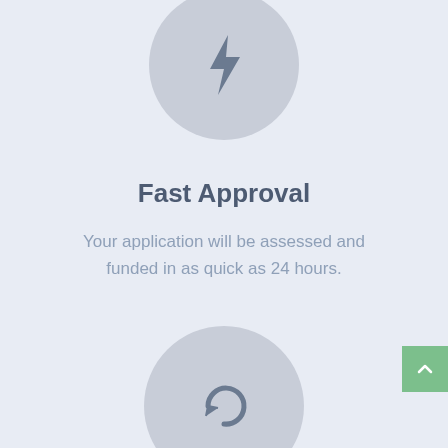[Figure (illustration): Gray circle icon with a lightning bolt symbol, partially visible at top of page]
Fast Approval
Your application will be assessed and funded in as quick as 24 hours.
[Figure (illustration): Gray circle icon with a refresh/undo arrow symbol, partially visible at bottom of page]